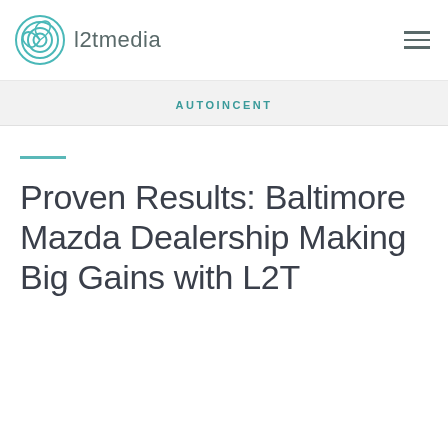l2tmedia
AUTOINCENT
Proven Results: Baltimore Mazda Dealership Making Big Gains with L2T